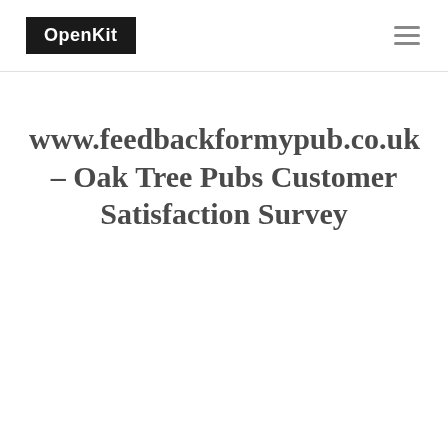OpenKit
www.feedbackformypub.co.uk – Oak Tree Pubs Customer Satisfaction Survey